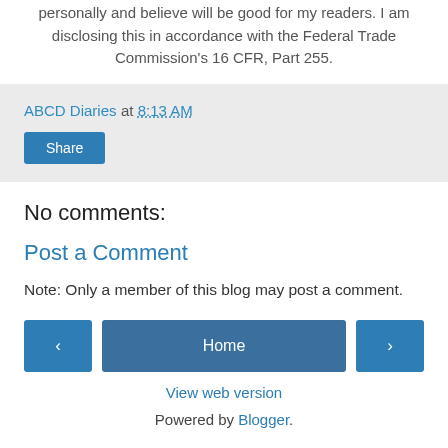personally and believe will be good for my readers. I am disclosing this in accordance with the Federal Trade Commission's 16 CFR, Part 255.
ABCD Diaries at 8:13 AM
Share
No comments:
Post a Comment
Note: Only a member of this blog may post a comment.
Home
View web version
Powered by Blogger.